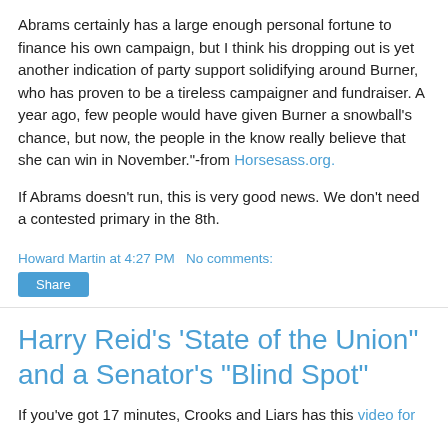Abrams certainly has a large enough personal fortune to finance his own campaign, but I think his dropping out is yet another indication of party support solidifying around Burner, who has proven to be a tireless campaigner and fundraiser. A year ago, few people would have given Burner a snowball's chance, but now, the people in the know really believe that she can win in November."-from Horsesass.org.
If Abrams doesn't run, this is very good news. We don't need a contested primary in the 8th.
Howard Martin at 4:27 PM   No comments:
Share
Harry Reid's 'State of the Union" and a Senator's "Blind Spot"
If you've got 17 minutes, Crooks and Liars has this video for